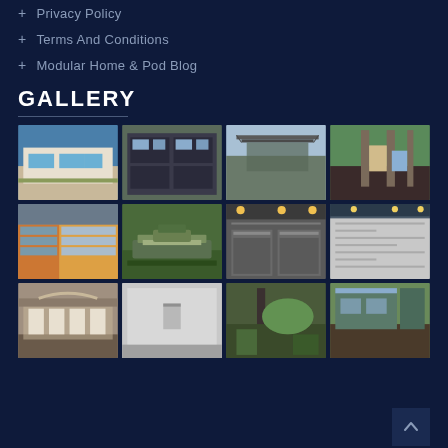+ Privacy Policy
+ Terms And Conditions
+ Modular Home & Pod Blog
GALLERY
[Figure (photo): Gallery grid of 12 architectural and construction photos showing modular homes, buildings, and construction sites in a 4x3 grid layout on a dark navy background]
[Figure (illustration): Back to top arrow button in bottom right corner]